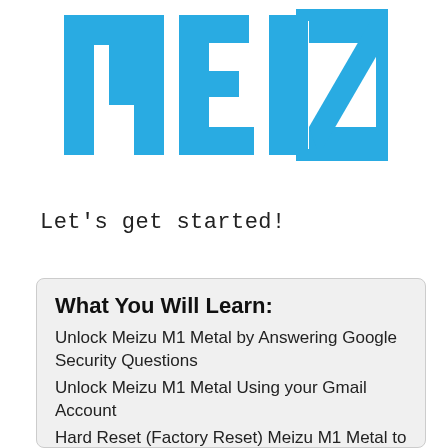[Figure (logo): Meizu logo in blue on white background, large stylized letters M E I Z U]
Let's get started!
What You Will Learn:
Unlock Meizu M1 Metal by Answering Google Security Questions
Unlock Meizu M1 Metal Using your Gmail Account
Hard Reset (Factory Reset) Meizu M1 Metal to Unlock
Unlock Meizu M1 Metal Using Google Find My Device